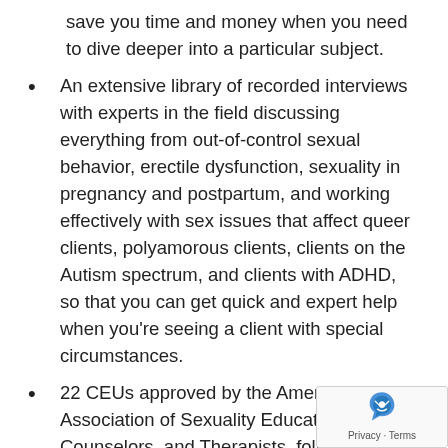save you time and money when you need to dive deeper into a particular subject.
An extensive library of recorded interviews with experts in the field discussing everything from out-of-control sexual behavior, erectile dysfunction, sexuality in pregnancy and postpartum, and working effectively with sex issues that affect queer clients, polyamorous clients, clients on the Autism spectrum, and clients with ADHD, so that you can get quick and expert help when you’re seeing a client with special circumstances.
22 CEUs approved by the American Association of Sexuality Educators, Counselors, and Therapists, following a post-test.*
A certificate of completion, suitable for fra and a detailed syllabus that you can use to